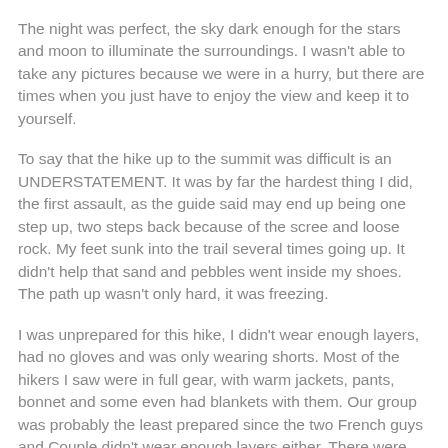The night was perfect, the sky dark enough for the stars and moon to illuminate the surroundings. I wasn't able to take any pictures because we were in a hurry, but there are times when you just have to enjoy the view and keep it to yourself.
To say that the hike up to the summit was difficult is an UNDERSTATEMENT. It was by far the hardest thing I did, the first assault, as the guide said may end up being one step up, two steps back because of the scree and loose rock. My feet sunk into the trail several times going up. It didn't help that sand and pebbles went inside my shoes. The path up wasn't only hard, it was freezing.
I was unprepared for this hike, I didn't wear enough layers, had no gloves and was only wearing shorts. Most of the hikers I saw were in full gear, with warm jackets, pants, bonnet and some even had blankets with them. Our group was probably the least prepared since the two French guys and Couple didn't wear enough layers either. There were times during the hike where I could barely feel my hands.